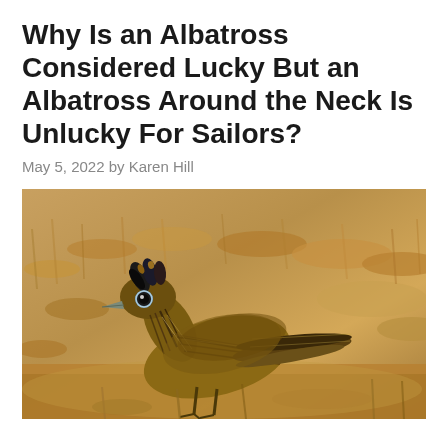Why Is an Albatross Considered Lucky But an Albatross Around the Neck Is Unlucky For Sailors?
May 5, 2022 by Karen Hill
[Figure (photo): Close-up photograph of a Greater Roadrunner bird with striped brown and black plumage and a dark crest, standing in a dry grassy field with blurred brown vegetation in the background.]